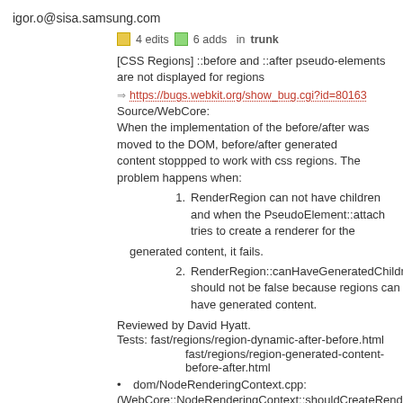igor.o@sisa.samsung.com
4 edits   6 adds   in trunk
[CSS Regions] ::before and ::after pseudo-elements are not displayed for regions
https://bugs.webkit.org/show_bug.cgi?id=80163
Source/WebCore:
When the implementation of the before/after was moved to the DOM, before/after generated content stoppped to work with css regions. The problem happens when:
1. RenderRegion can not have children and when the PseudoElement::attach tries to create a renderer for the generated content, it fails.
2. RenderRegion::canHaveGeneratedChildren should not be false because regions can have generated content.
Reviewed by David Hyatt.
Tests: fast/regions/region-dynamic-after-before.html
fast/regions/region-generated-content-before-after.html
dom/NodeRenderingContext.cpp:
(WebCore::NodeRenderingContext::shouldCreateRenderer):
rendering/RenderRegion.h: